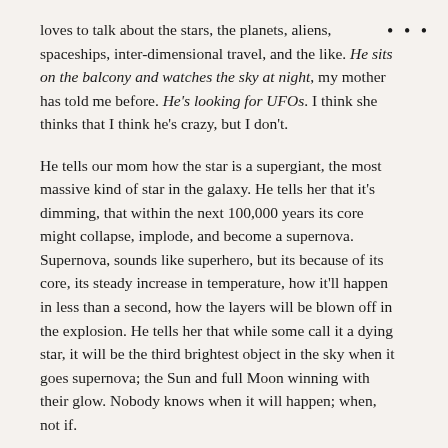loves to talk about the stars, the planets, aliens, spaceships, inter-dimensional travel, and the like. He sits on the balcony and watches the sky at night, my mother has told me before. He's looking for UFOs. I think she thinks that I think he's crazy, but I don't.
He tells our mom how the star is a supergiant, the most massive kind of star in the galaxy. He tells her that it's dimming, that within the next 100,000 years its core might collapse, implode, and become a supernova. Supernova, sounds like superhero, but its because of its core, its steady increase in temperature, how it'll happen in less than a second, how the layers will be blown off in the explosion. He tells her that while some call it a dying star, it will be the third brightest object in the sky when it goes supernova; the Sun and full Moon winning with their glow. Nobody knows when it will happen; when, not if.